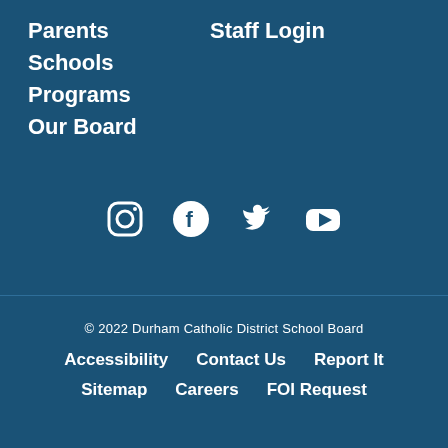Parents
Staff Login
Schools
Programs
Our Board
[Figure (infographic): Social media icons row: Instagram, Facebook, Twitter, YouTube]
© 2022 Durham Catholic District School Board
Accessibility
Contact Us
Report It
Sitemap
Careers
FOI Request